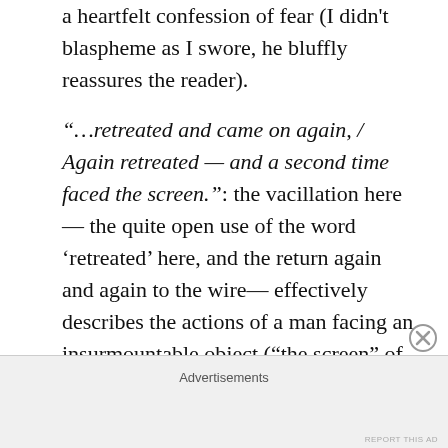a heartfelt confession of fear (I didn't blaspheme as I swore, he bluffly reassures the reader).
“…retreated and came on again, / Again retreated — and a second time faced the screen.”: the vacillation here— the quite open use of the word ‘retreated’ here, and the return again and again to the wire— effectively describes the actions of a man facing an insurmountable object (“the screen” of wire). On this inconclusive and definitely non-heroic note — the wire halting forward movement— the
Advertisements